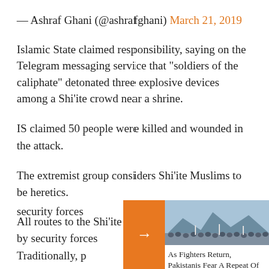— Ashraf Ghani (@ashrafghani) March 21, 2019
Islamic State claimed responsibility, saying on the Telegram messaging service that "soldiers of the caliphate" detonated three explosive devices among a Shi'ite crowd near a shrine.
IS claimed 50 people were killed and wounded in the attack.
The extremist group considers Shi'ite Muslims to be heretics.
All routes to the Shi'ite shrine were cordoned off by security forces
[Figure (photo): Crowd of people at a rally or gathering, with mountains in background. Related article thumbnail.]
As Fighters Return, Pakistanis Fear A Repeat Of Taliban Carnage
Traditionally, p